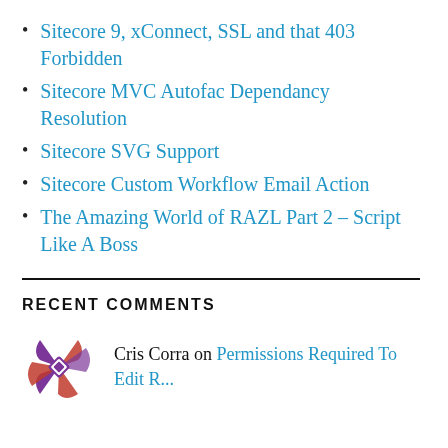Sitecore 9, xConnect, SSL and that 403 Forbidden
Sitecore MVC Autofac Dependancy Resolution
Sitecore SVG Support
Sitecore Custom Workflow Email Action
The Amazing World of RAZL Part 2 – Script Like A Boss
RECENT COMMENTS
Cris Corra on Permissions Required To Edit R...